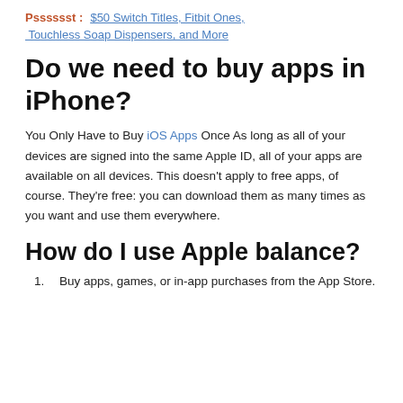Psssssst : $50 Switch Titles, Fitbit Ones, Touchless Soap Dispensers, and More
Do we need to buy apps in iPhone?
You Only Have to Buy iOS Apps Once As long as all of your devices are signed into the same Apple ID, all of your apps are available on all devices. This doesn't apply to free apps, of course. They're free: you can download them as many times as you want and use them everywhere.
How do I use Apple balance?
Buy apps, games, or in-app purchases from the App Store.